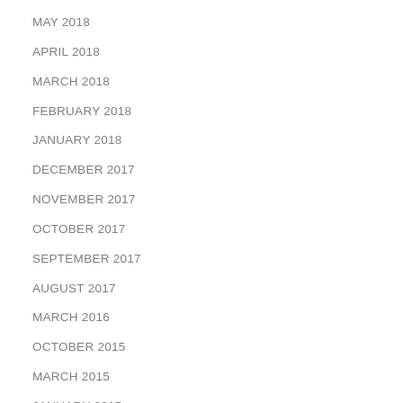MAY 2018
APRIL 2018
MARCH 2018
FEBRUARY 2018
JANUARY 2018
DECEMBER 2017
NOVEMBER 2017
OCTOBER 2017
SEPTEMBER 2017
AUGUST 2017
MARCH 2016
OCTOBER 2015
MARCH 2015
JANUARY 2015
APRIL 2014
MARCH 2014